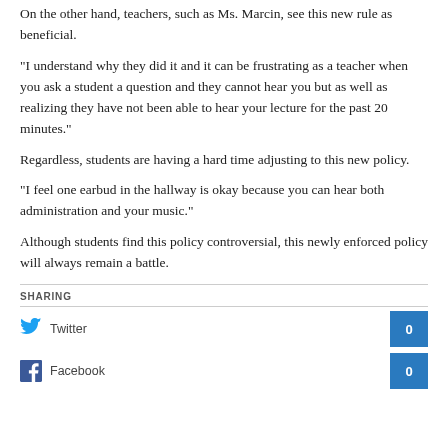On the other hand, teachers, such as Ms. Marcin, see this new rule as beneficial.
“I understand why they did it and it can be frustrating as a teacher when you ask a student a question and they cannot hear you but as well as realizing they have not been able to hear your lecture for the past 20 minutes.”
Regardless, students are having a hard time adjusting to this new policy.
“I feel one earbud in the hallway is okay because you can hear both administration and your music.”
Although students find this policy controversial, this newly enforced policy will always remain a battle.
SHARING
Twitter 0
Facebook 0